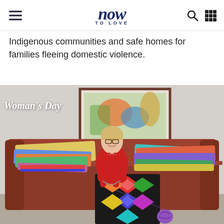now TO LOVE
Indigenous communities and safe homes for families fleeing domestic violence.
[Figure (photo): Woman in red sweater sitting on a rust-colored sofa surrounded by colorful crocheted blankets, knitting. Woman's Day logo visible in top left of photo. A framed artwork hangs on the wall behind her. A ball of purple yarn sits on the floor.]